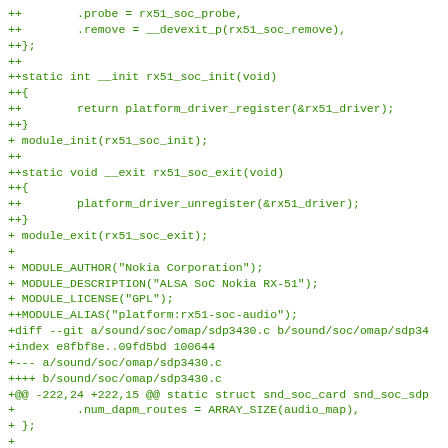++        .probe = rx51_soc_probe,
++        .remove = __devexit_p(rx51_soc_remove),
++};
++
++static int __init rx51_soc_init(void)
++{
++        return platform_driver_register(&rx51_driver);
++}
+ module_init(rx51_soc_init);
++
++static void __exit rx51_soc_exit(void)
++{
++        platform_driver_unregister(&rx51_driver);
++}
+ module_exit(rx51_soc_exit);
+
+ MODULE_AUTHOR("Nokia Corporation");
+ MODULE_DESCRIPTION("ALSA SoC Nokia RX-51");
+ MODULE_LICENSE("GPL");
++MODULE_ALIAS("platform:rx51-soc-audio");
+diff --git a/sound/soc/omap/sdp3430.c b/sound/soc/omap/sdp34
+index e8fbf8e..09fd5bd 100644
++-- a/sound/soc/omap/sdp3430.c
++++ b/sound/soc/omap/sdp3430.c
+@@ -222,24 +222,15 @@ static struct snd_soc_card snd_soc_sdp
+         .num_dapm_routes = ARRAY_SIZE(audio_map),
+ };
+
+-static struct platform_device *sdp3430_snd_device;
+-
+-static int __init sdp3430_soc_init(void)
+++static int __devinit sdp3430_soc_probe(struct platform_devi